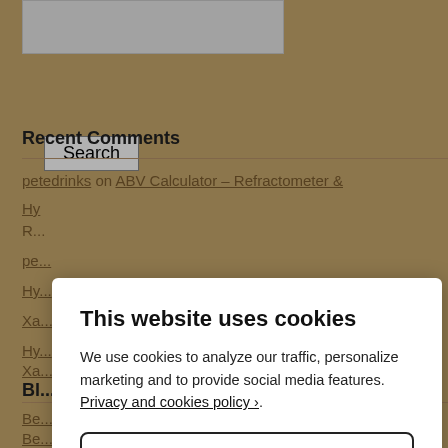[Figure (screenshot): Search input field (grey box)]
Search
Recent Comments
petedrinks on ABV Calculator – Refractometer & Hy...
R...
pe...
Hy...
Xa...
Hy...
Xa...
Bl...
Be...
Be...
Booze, Beats & Bites
Boo...
This website uses cookies
We use cookies to analyze our traffic, personalize marketing and to provide social media features. Privacy and cookies policy ›.
Only Necessary
Allow All Cookies
Configure Settings ›